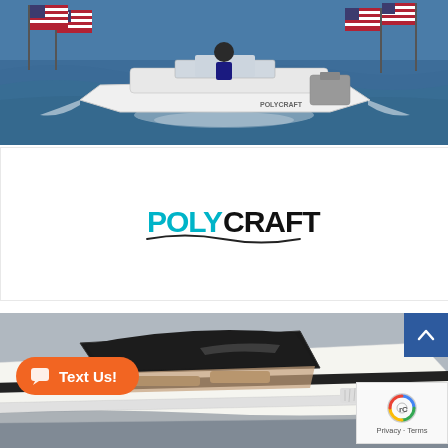[Figure (photo): A white Polycraft boat speeding on blue water, flanked by American flags, with a person in the boat.]
[Figure (logo): Polycraft logo: 'POLY' in teal/turquoise and 'CRAFT' in black bold text with a wave underline.]
[Figure (photo): Close-up of a sleek modern yacht/boat with black and white design, dark windshield, photographed from above-side angle.]
[Figure (other): Orange rounded 'Text Us!' chat button with speech bubble icon, and blue scroll-to-top arrow button overlay. reCAPTCHA badge bottom right.]